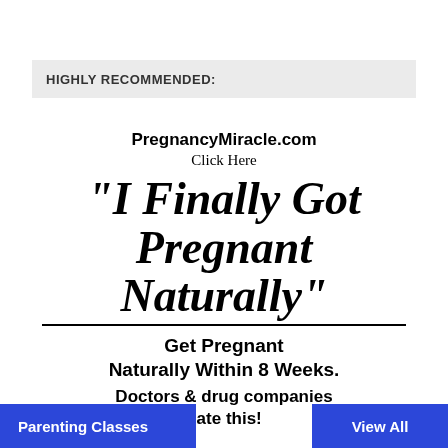HIGHLY RECOMMENDED:
[Figure (infographic): Advertisement for PregnancyMiracle.com with headline 'I Finally Got Pregnant Naturally', subtext 'Get Pregnant Naturally Within 8 Weeks. Doctors & drug companies hate this!']
Parenting Classes   View All